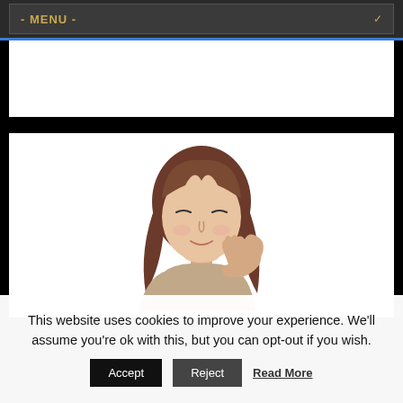- MENU -
[Figure (photo): A young woman with long brown hair resting her chin on her hand, smiling gently, looking downward. She is wearing a beige/gray top. White background.]
This website uses cookies to improve your experience. We'll assume you're ok with this, but you can opt-out if you wish.
Accept   Reject   Read More